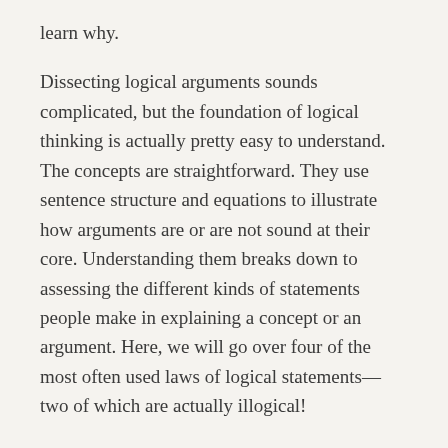learn why.
Dissecting logical arguments sounds complicated, but the foundation of logical thinking is actually pretty easy to understand. The concepts are straightforward. They use sentence structure and equations to illustrate how arguments are or are not sound at their core. Understanding them breaks down to assessing the different kinds of statements people make in explaining a concept or an argument. Here, we will go over four of the most often used laws of logical statements—two of which are actually illogical!
Conditional statements: X -> Y. The first of our so-called laws of logic is the conditional